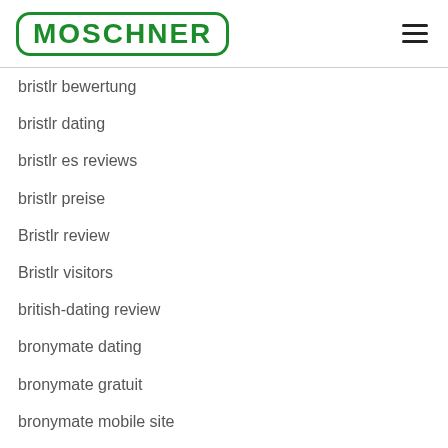MOSCHNER
bristlr bewertung
bristlr dating
bristlr es reviews
bristlr preise
Bristlr review
Bristlr visitors
british-dating review
bronymate dating
bronymate gratuit
bronymate mobile site
bronymate web
brownsville escort index